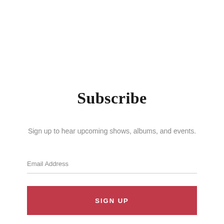Subscribe
Sign up to hear upcoming shows, albums, and events.
Email Address
SIGN UP